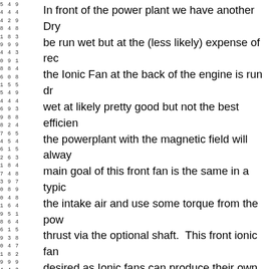In front of the power plant we have another Dry... be run wet but at the (less likely) expense of rec... the Ionic Fan at the back of the engine is run dr... wet at likely pretty good but not the best efficien... the powerplant with the magnetic field will alway... main goal of this front fan is the same in a typic... the intake air and use some torque from the pow... thrust via the optional shaft. This front ionic fan... desired as Ionic fans can produce their own torc... needs to run at a higher pressure, then multiple... just like a typical jet engine to achieve the corre...
Notice the front of the engine is positively charg... charged. Of course the Wet and Dry Ionic Jet P... charges, but charging the high level container a... engine toward the direction of positive charge v... that goes out the back of the engine improving t... charge at the exhaust helps lower drag of the g...